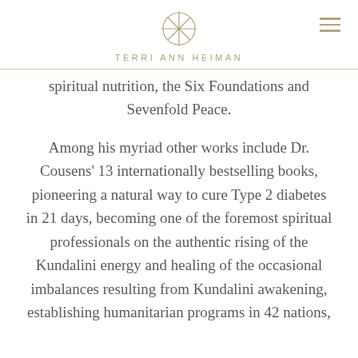TERRI ANN HEIMAN
spiritual nutrition, the Six Foundations and Sevenfold Peace.
Among his myriad other works include Dr. Cousens' 13 internationally bestselling books, pioneering a natural way to cure Type 2 diabetes in 21 days, becoming one of the foremost spiritual professionals on the authentic rising of the Kundalini energy and healing of the occasional imbalances resulting from Kundalini awakening, establishing humanitarian programs in 42 nations,